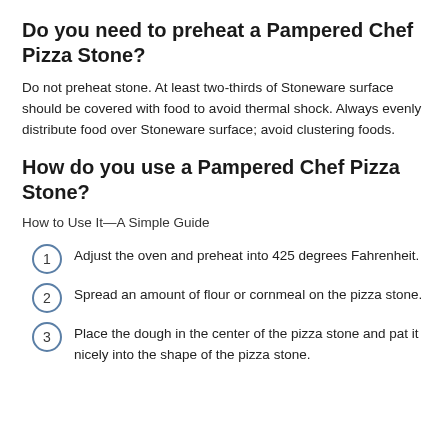Do you need to preheat a Pampered Chef Pizza Stone?
Do not preheat stone. At least two-thirds of Stoneware surface should be covered with food to avoid thermal shock. Always evenly distribute food over Stoneware surface; avoid clustering foods.
How do you use a Pampered Chef Pizza Stone?
How to Use It—A Simple Guide
Adjust the oven and preheat into 425 degrees Fahrenheit.
Spread an amount of flour or cornmeal on the pizza stone.
Place the dough in the center of the pizza stone and pat it nicely into the shape of the pizza stone.